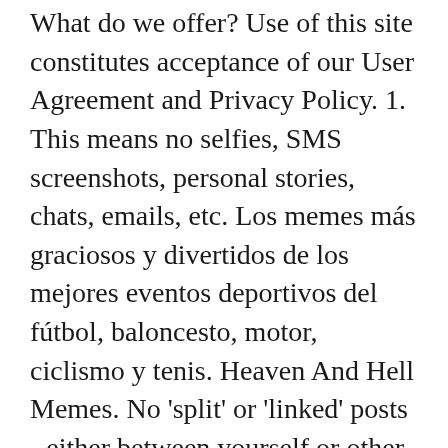What do we offer? Use of this site constitutes acceptance of our User Agreement and Privacy Policy. 1. This means no selfies, SMS screenshots, personal stories, chats, emails, etc. Los memes más graciosos y divertidos de los mejores eventos deportivos del fútbol, baloncesto, motor, ciclismo y tenis. Heaven And Hell Memes. No 'split' or 'linked' posts - either between yourself or other users. an element of a culture or system of behavior that may be considered to be passed from one individual to another by nongenetic means, especially imitation. Tags. Create intelligent apps with vision, speech, language, and knowledge capabilities through Azure Cognitive Services. We reserve the right to moderate at our own discretion. and join one of thousands of communities. A way of describing cultural